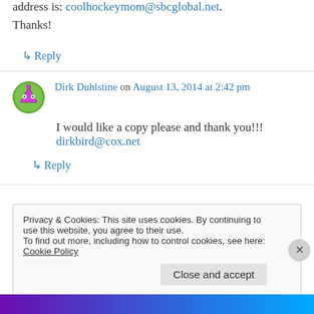address is: coolhockeymom@sbcglobal.net.
Thanks!
↳ Reply
Dirk Duhlstine on August 13, 2014 at 2:42 pm
I would like a copy please and thank you!!!
dirkbird@cox.net
↳ Reply
Privacy & Cookies: This site uses cookies. By continuing to use this website, you agree to their use. To find out more, including how to control cookies, see here: Cookie Policy
Close and accept